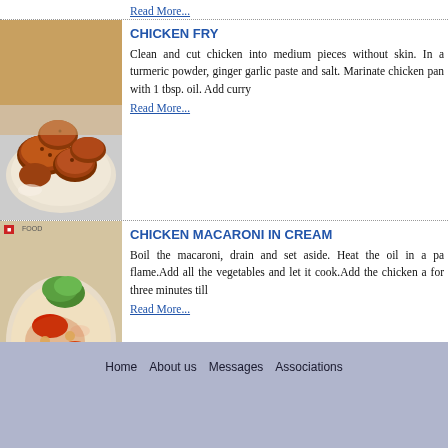Read More...
CHICKEN FRY
[Figure (photo): Plate of fried chicken pieces]
Clean and cut chicken into medium pieces without skin. In a turmeric powder, ginger garlic paste and salt. Marinate chicken pan with 1 tbsp. oil. Add curry
Read More...
CHICKEN MACARONI IN CREAM
[Figure (photo): Chicken macaroni dish with vegetables]
Boil the macaroni, drain and set aside. Heat the oil in a pa flame.Add all the vegetables and let it cook.Add the chicken a for three minutes till
Read More...
Coriander Chicken
[Figure (photo): Coriander chicken curry in a bowl]
Cut the chicken into medium pieces
Marinate with curd, ginger-garlic paste, salt and turmeric powd
Read More...
Home   About us   Messages   Associations